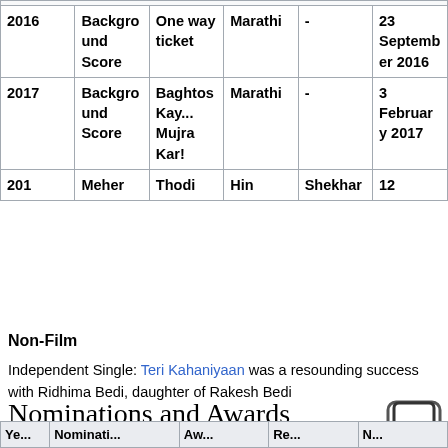| Year | Role/Type | Film | Lang | Director | Release Date |
| --- | --- | --- | --- | --- | --- |
| 2016 | Background Score | One way ticket | Marathi | - | 23 September 2016 |
| 2017 | Background Score | Baghtos Kay... Mujra Kar! | Marathi | - | 3 February 2017 |
| 201 | Meher | Thodi | Hin | Shekhar | 12 |
Non-Film
Independent Single: Teri Kahaniyaan was a resounding success with Ridhima Bedi, daughter of Rakesh Bedi
Nominations and Awards
| Ye... | Nominati... | Aw... | Re... | N... |
| --- | --- | --- | --- | --- |